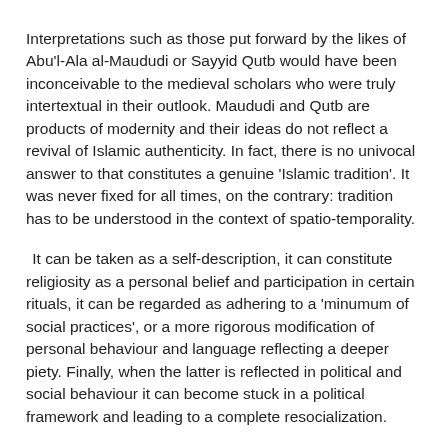Interpretations such as those put forward by the likes of Abu'l-Ala al-Maududi or Sayyid Qutb would have been inconceivable to the medieval scholars who were truly intertextual in their outlook. Maududi and Qutb are products of modernity and their ideas do not reflect a revival of Islamic authenticity. In fact, there is no univocal answer to that constitutes a genuine 'Islamic tradition'. It was never fixed for all times, on the contrary: tradition has to be understood in the context of spatio-temporality.
It can be taken as a self-description, it can constitute religiosity as a personal belief and participation in certain rituals, it can be regarded as adhering to a 'minumum of social practices', or a more rigorous modification of personal behaviour and language reflecting a deeper piety. Finally, when the latter is reflected in political and social behaviour it can become stuck in a political framework and leading to a complete resocialization.
The same applies to the term 'Muslim' as used by al-Azmeh in the title of his lecture. This also requires a 'situational' understanding.